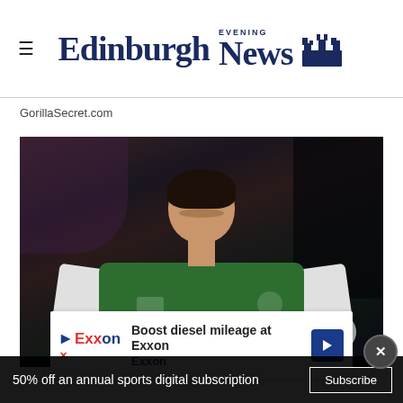Edinburgh Evening News
GorillaSecret.com
[Figure (photo): Football player wearing a Hibernian green and white jersey in action during a match, with a blurred crowd in the background]
Boost diesel mileage at Exxon Exxon
50% off an annual sports digital subscription Subscribe